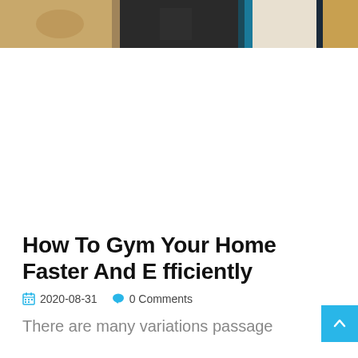[Figure (photo): Hero image banner at the top of the page showing a gym/fitness related scene with warm and cool tones, partially visible strip]
How To Gym Your Home Faster And Efficiently
2020-08-31   0 Comments
There are many variations passage